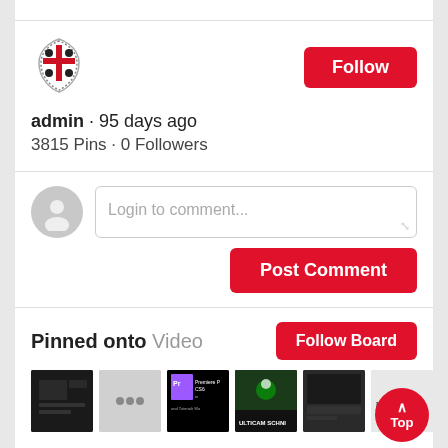[Figure (logo): Sardinian heraldic shield logo — red and white cross with decorative border]
Follow
admin · 95 days ago
3815 Pins · 0 Followers
Login to comment...
Post Comment
Pinned onto Video
Follow Board
[Figure (screenshot): Six thumbnail images of video content: dark UI screenshot, gray placeholder with dots, Adobe Premiere Pro CS6 tutorial, multicam schnitt video, dark editing software, text on fabric 'm Bac']
Top